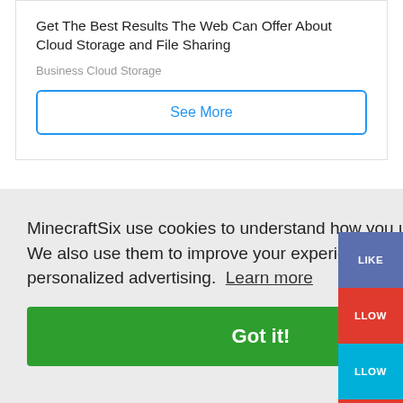Get The Best Results The Web Can Offer About Cloud Storage and File Sharing
Business Cloud Storage
See More
MinecraftSix use cookies to understand how you use this site. We also use them to improve your experience and serve you personalized advertising. Learn more
Got it!
LIKE
LLOW
LLOW
CRIBE